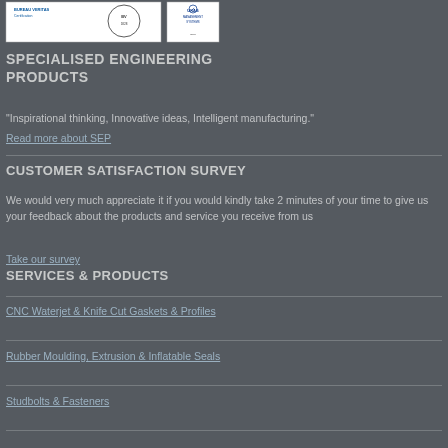[Figure (logo): Bureau Veritas Certification logo and UKAS Management Systems logo with certification marks]
SPECIALISED ENGINEERING PRODUCTS
"Inspirational thinking, Innovative ideas, Intelligent manufacturing."
Read more about SEP
CUSTOMER SATISFACTION SURVEY
We would very much appreciate it if you would kindly take 2 minutes of your time to give us your feedback about the products and service you receive from us
Take our survey
SERVICES & PRODUCTS
CNC Waterjet & Knife Cut Gaskets & Profiles
Rubber Moulding, Extrusion & Inflatable Seals
Studbolts & Fasteners